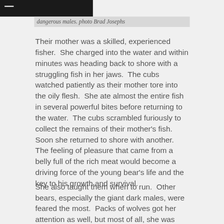dangerous males. photo Brad Josephs
Their mother was a skilled, experienced fisher.  She charged into the water and within minutes was heading back to shore with a struggling fish in her jaws.  The cubs watched patiently as their mother tore into the oily flesh.  She ate almost the entire fish in several powerful bites before returning to the water.  The cubs scrambled furiously to collect the remains of their mother's fish.  Soon she returned to shore with another.  The feeling of pleasure that came from a belly full of the rich meat would become a driving force of the young bear's life and the key to his growth and survival.
She also taught them when to run.  Other bears, especially the giant dark males, were feared the most.  Packs of wolves got her attention as well, but most of all, she was terrified of people.  On three